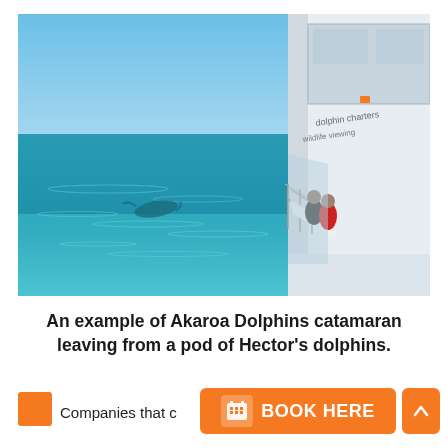[Figure (photo): Photo of an Akaroa Dolphins catamaran on turquoise ocean water. Two people stand at the bow railing looking at a dolphin visible in the water to the left. The white boat hull is visible on the right side with text 'dolphin charters' and partial text visible. Clear blue sky above.]
An example of Akaroa Dolphins catamaran leaving from a pod of Hector's dolphins.
Companies that c